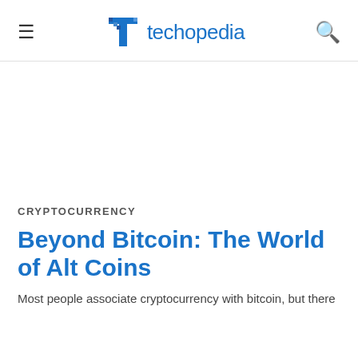techopedia
CRYPTOCURRENCY
Beyond Bitcoin: The World of Alt Coins
Most people associate cryptocurrency with bitcoin, but there